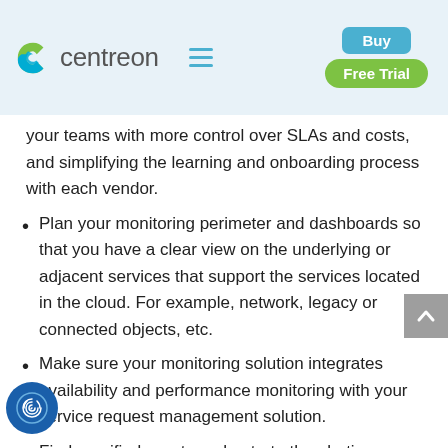centreon — Buy | Free Trial
your teams with more control over SLAs and costs, and simplifying the learning and onboarding process with each vendor.
Plan your monitoring perimeter and dashboards so that you have a clear view on the underlying or adjacent services that support the services located in the cloud. For example, network, legacy or connected objects, etc.
Make sure your monitoring solution integrates availability and performance monitoring with your service request management solution.
Find a unified way to orchestrate the alerting scheme for all your assets at once—don't drown in competing alerts and notices while clearly